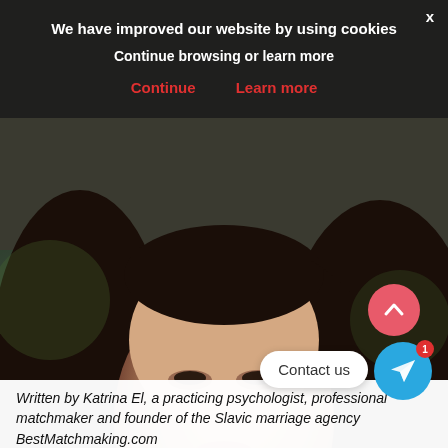[Figure (photo): Close-up portrait photo of a young brunette woman with long dark hair, smiling slightly, wearing a teal/blue top. Background is blurred outdoor greenery.]
We have improved our website by using cookies
Continue browsing or learn more
Continue   Learn more
Contact us
Written by Katrina El, a practicing psychologist, professional matchmaker and founder of the Slavic marriage agency BestMatchmaking.com